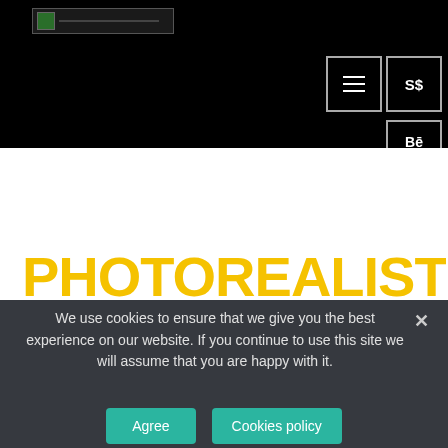[Figure (screenshot): Website navigation bar with logo placeholder, hamburger menu button, S$ currency button, and Bē social button on black background]
PHOTOREALISTIC RENDERINGS
We use cookies to ensure that we give you the best experience on our website. If you continue to use this site we will assume that you are happy with it.